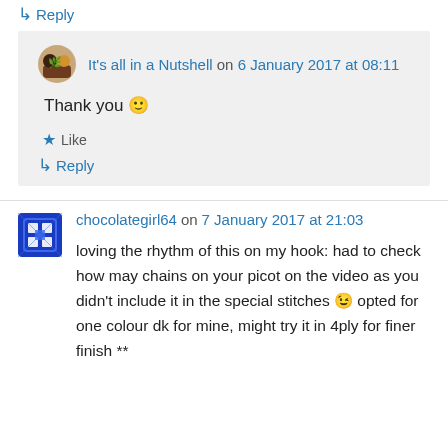↳ Reply
It's all in a Nutshell on 6 January 2017 at 08:11
Thank you 🙂
★ Like
↳ Reply
chocolategirl64 on 7 January 2017 at 21:03
loving the rhythm of this on my hook: had to check how may chains on your picot on the video as you didn't include it in the special stitches 😉 opted for one colour dk for mine, might try it in 4ply for finer finish **